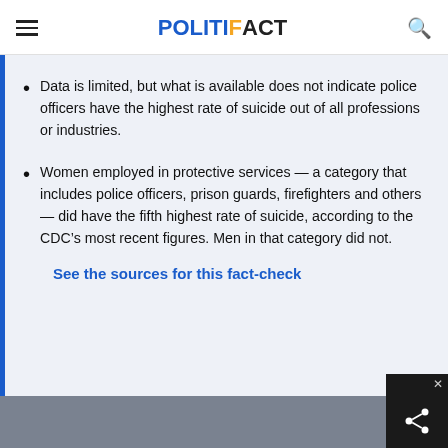POLITIFACT
Data is limited, but what is available does not indicate police officers have the highest rate of suicide out of all professions or industries.
Women employed in protective services — a category that includes police officers, prison guards, firefighters and others — did have the fifth highest rate of suicide, according to the CDC's most recent figures. Men in that category did not.
See the sources for this fact-check